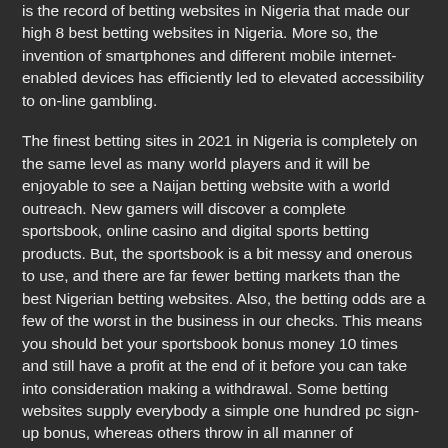is the record of betting websites in Nigeria that made our high 8 best betting websites in Nigeria. More so, the invention of smartphones and different mobile internet-enabled devices has efficiently led to elevated accessibility to on-line gambling.
The finest betting sites in 2021 in Nigeria is completely on the same level as many world players and it will be enjoyable to see a Naijan betting website with a world outreach. New gamers will discover a complete sportsbook, online casino and digital sports betting products. But, the sportsbook is a bit messy and onerous to use, and there are far fewer betting markets than the best Nigerian betting websites. Also, the betting odds are a few of the worst in the business in our checks. This means you should bet your sportsbook bonus money 10 times and still have a profit at the end of it before you can take into consideration making a withdrawal. Some betting websites supply everybody a simple one hundred pc sign-up bonus, whereas others throw in all manner of stipulations on the bonus they provide.
Despite the reality that there are some exceptions, some of these betting sites for Nigeria from Nostrabet use these colours lots, particularly on their homepage. So, if you discover that a given